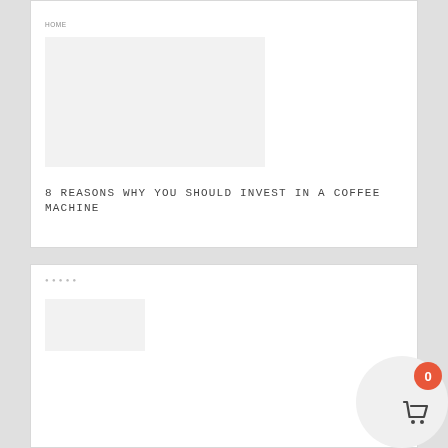8 REASONS WHY YOU SHOULD INVEST IN A COFFEE MACHINE
[Figure (other): Blank card placeholder for a second article or content block]
[Figure (other): Shopping cart icon with orange badge showing count 0]